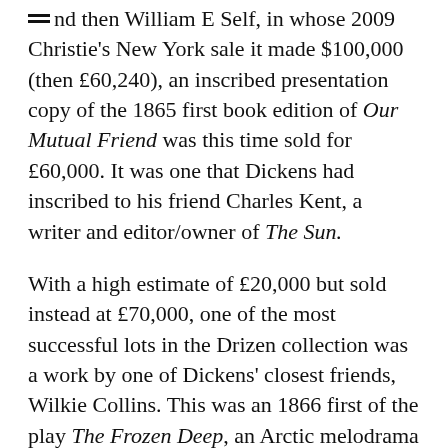and then William E Self, in whose 2009 Christie's New York sale it made $100,000 (then £60,240), an inscribed presentation copy of the 1865 first book edition of Our Mutual Friend was this time sold for £60,000. It was one that Dickens had inscribed to his friend Charles Kent, a writer and editor/owner of The Sun.
With a high estimate of £20,000 but sold instead at £70,000, one of the most successful lots in the Drizen collection was a work by one of Dickens' closest friends, Wilkie Collins. This was an 1866 first of the play The Frozen Deep, an Arctic melodrama written in the aftermath of the Franklin expedition, that on a number of pages showed autograph revisions to the dialogue, cuts and changes to stage direction.
The first performance, celebrating the birthday of Dickens' son Charley, was given at Tavistock House in January 1857, with Dickens himself in the role of the